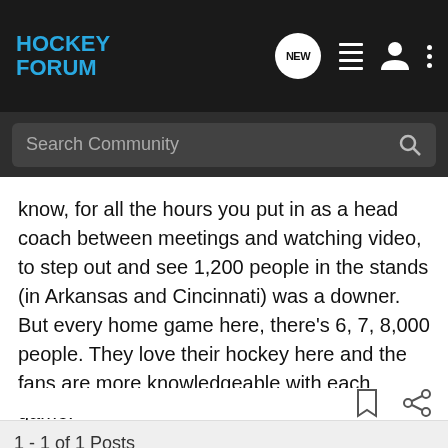[Figure (logo): Hockey Forum logo in blue text on dark background with navigation icons]
Search Community
know, for all the hours you put in as a head coach between meetings and watching video, to step out and see 1,200 people in the stands (in Arkansas and Cincinnati) was a downer. But every home game here, there's 6, 7, 8,000 people. They love their hockey here and the fans are more knowledgeable with each game."
1 - 1 of 1 Posts
This is an older thread, you may not receive a response, and could be reviving an old thread. Please consider creating a new thread.